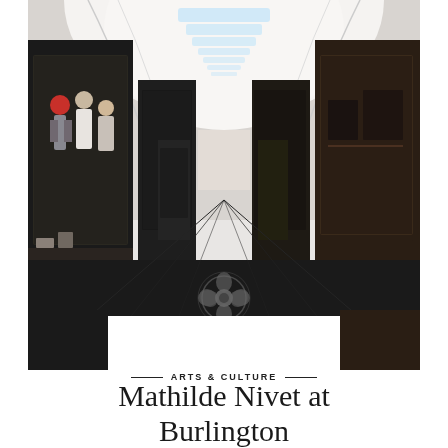[Figure (photo): Interior of Burlington Arcade in London — a long covered shopping arcade with glass skylights in a vaulted white ceiling, dark shop fronts with display windows on both sides, mannequins visible in shop windows on the left, dark polished floor leading to a vanishing point, Burlington flower logo and BURLINGTON text on the floor in the foreground]
ARTS & CULTURE
Mathilde Nivet at Burlington